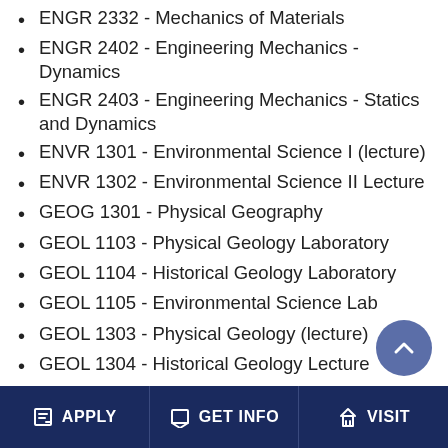ENGR 2332 - Mechanics of Materials
ENGR 2402 - Engineering Mechanics - Dynamics
ENGR 2403 - Engineering Mechanics - Statics and Dynamics
ENVR 1301 - Environmental Science I (lecture)
ENVR 1302 - Environmental Science II Lecture
GEOG 1301 - Physical Geography
GEOL 1103 - Physical Geology Laboratory
GEOL 1104 - Historical Geology Laboratory
GEOL 1105 - Environmental Science Lab
GEOL 1303 - Physical Geology (lecture)
GEOL 1304 - Historical Geology Lecture
GEOL 1305 - Environmental Science Lecture
GEOL 1345 - Oceanography
GEOL 1347 - Meteorology
GEOL 1403 - Physical Geology